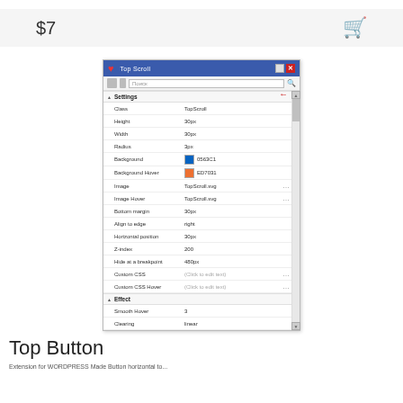$7
[Figure (screenshot): Screenshot of a Windows application settings panel titled 'Top Scroll' showing configuration fields including Class (TopScroll), Height (30px), Width (30px), Radius (3px), Background (0563C1), Background Hover (ED7031), Image (TopScroll.svg), Image Hover (TopScroll.svg), Bottom margin (30px), Align to edge (right), Horizontal position (30px), Z-index (200), Hide at a breakpoint (480px), Custom CSS ((Click to edit text)), Custom CSS Hover ((Click to edit text)), and Effect section with Smooth Hover (3) and Clearing (linear).]
Top Button
Extension for WORDPRESS Made Button horizontal to...